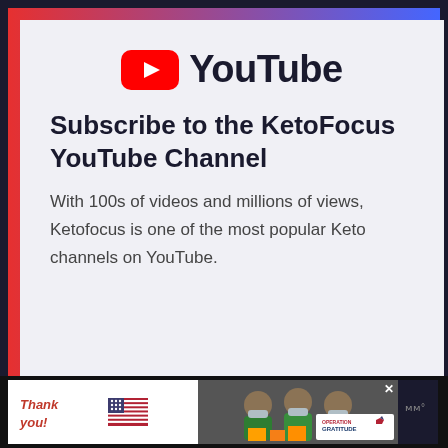[Figure (logo): YouTube logo: red rounded rectangle with white play button triangle, followed by 'YouTube' wordmark in dark navy bold text]
Subscribe to the KetoFocus YouTube Channel
With 100s of videos and millions of views, Ketofocus is one of the most popular Keto channels on YouTube.
[Figure (infographic): Advertisement banner at bottom: 'Thank you!' handwritten text with US flag graphic, photo of three masked healthcare workers holding packages, Operation Gratitude logo, and close button X]